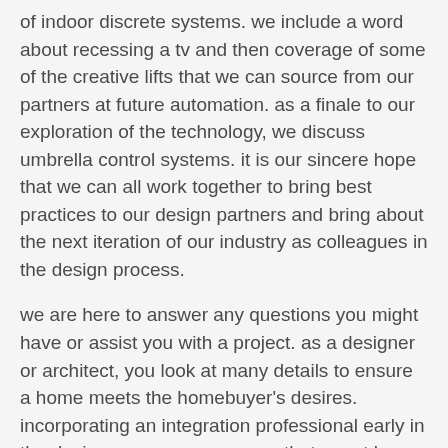of indoor discrete systems. we include a word about recessing a tv and then coverage of some of the creative lifts that we can source from our partners at future automation. as a finale to our exploration of the technology, we discuss umbrella control systems. it is our sincere hope that we can all work together to bring best practices to our design partners and bring about the next iteration of our industry as colleagues in the design process.
we are here to answer any questions you might have or assist you with a project. as a designer or architect, you look at many details to ensure a home meets the homebuyer's desires. incorporating an integration professional early in the design process can ensure that smart home technology blends in seamlessly, and is not something that feels tacked on or an afterthought. the overarching consideration is deciding how much smart technology is needed. the sophistication comes from how easily the homeowner can control the...